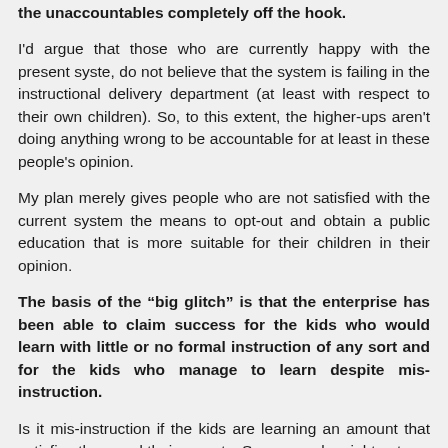the unaccountables completely off the hook.
I'd argue that those who are currently happy with the present syste, do not believe that the system is failing in the instructional delivery department (at least with respect to their own children). So, to this extent, the higher-ups aren't doing anything wrong to be accountable for at least in these people's opinion.
My plan merely gives people who are not satisfied with the current system the means to opt-out and obtain a public education that is more suitable for their children in their opinion.
The basis of the “big glitch” is that the enterprise has been able to claim success for the kids who would learn with little or no formal instruction of any sort and for the kids who manage to learn despite mis-instruction.
Is it mis-instruction if the kids are learning an amount that satisfies them and their parents. Some people might not